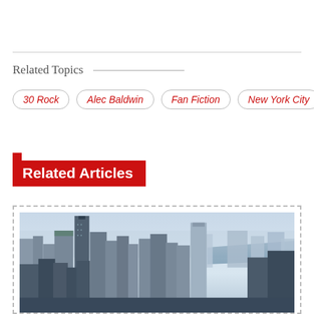Related Topics
30 Rock
Alec Baldwin
Fan Fiction
New York City
Related Articles
[Figure (photo): Aerial photograph of the New York City skyline showing Manhattan skyscrapers with a river and New Jersey in the background on a hazy day]